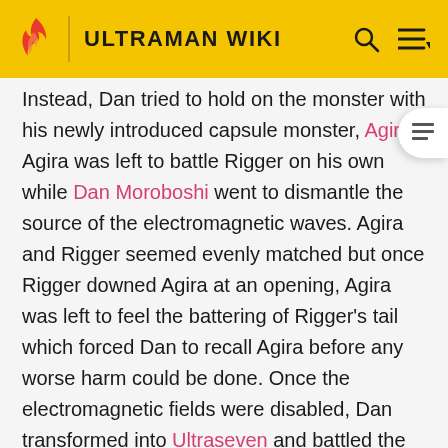ULTRAMAN WIKI
Instead, Dan tried to hold on the monster with his newly introduced capsule monster, Agira. Agira was left to battle Rigger on his own while Dan Moroboshi went to dismantle the source of the electromagnetic waves. Agira and Rigger seemed evenly matched but once Rigger downed Agira at an opening, Agira was left to feel the battering of Rigger's tail which forced Dan to recall Agira before any worse harm could be done. Once the electromagnetic fields were disabled, Dan transformed into Ultraseven and battled the monster himself. Ultraseven and Rigger also seemed evenly matched by ultimately it was the Ultra who won by decapitating Rigger with his Eye Slugger. Shortly after killing the monster, Ultraseven lured his ship into the Earth's atmosphere with Rigger's decapitated head, where it